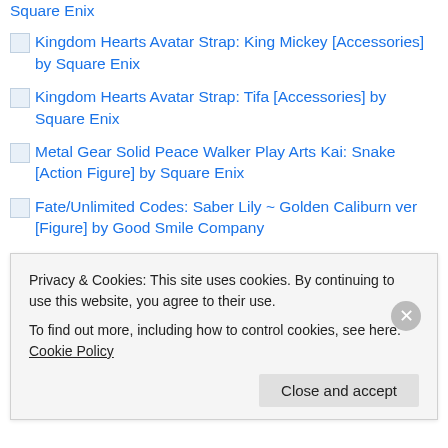Kingdom Hearts Avatar Strap: Donald [Accessories] by Square Enix
Kingdom Hearts Avatar Strap: King Mickey [Accessories] by Square Enix
Kingdom Hearts Avatar Strap: Tifa [Accessories] by Square Enix
Metal Gear Solid Peace Walker Play Arts Kai: Snake [Action Figure] by Square Enix
Fate/Unlimited Codes: Saber Lily ~ Golden Caliburn ver [Figure] by Good Smile Company
Privacy & Cookies: This site uses cookies. By continuing to use this website, you agree to their use.
To find out more, including how to control cookies, see here: Cookie Policy